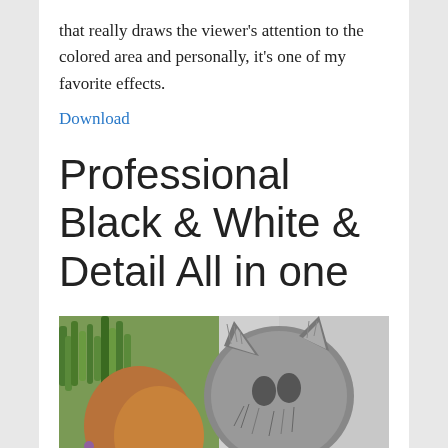that really draws the viewer's attention to the colored area and personally, it's one of my favorite effects.
Download
Professional Black & White & Detail All in one
[Figure (photo): A cat photo showing a split effect: the right side of the cat is rendered in black and white with high detail, while the left side and background show color — green foliage and orange/brown fur.]